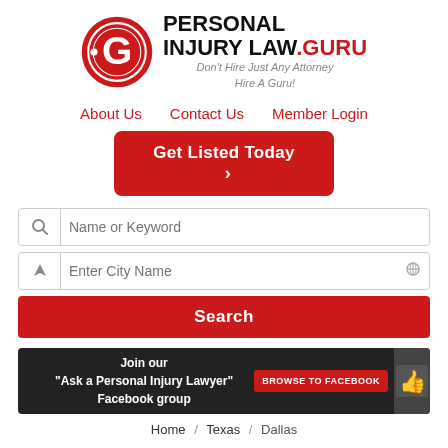[Figure (logo): Personal Injury Law .GURU logo with red circle G emblem and tagline 'Don't Hire Just Any Attorney Hire A Guru!']
About Us
Contact Us
Member Login
Get Listed Today >
Name or Keyword
Enter City Name
Search
Join our "Ask a Personal Injury Lawyer" Facebook group
BROWSE TO FACEBOOK
Home / Texas / Dallas